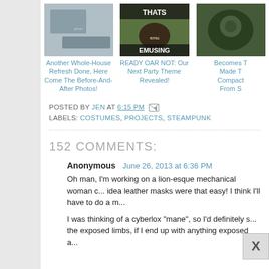[Figure (photo): Three thumbnail images from related blog posts: a home interior photo, a meme with an emu labeled 'THATS EMUSING', and a steampunk helmet/mask photo]
Another Whole-House Refresh Done, Here Come The Before-And-After Photos!
READY OAR NOT: Our Next Party Theme Revealed!
Becomes T... Made T... Compact... From S...
POSTED BY JEN AT 6:15 PM [email icon] LABELS: COSTUMES, PROJECTS, STEAMPUNK
152 COMMENTS:
Anonymous  June 26, 2013 at 6:36 PM

Oh man, I'm working on a lion-esque mechanical woman c... idea leather masks were that easy! I think I'll have to do a m...

I was thinking of a cyberlox "mane", so I'd definitely s... the exposed limbs, if I end up with anything exposed a...